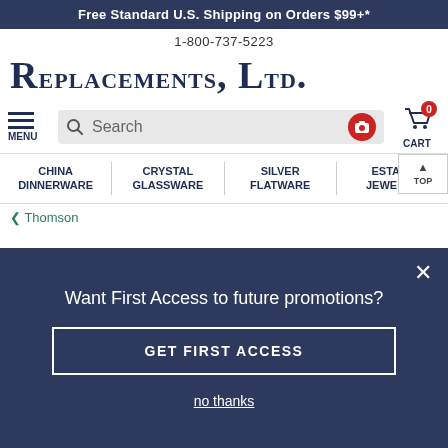Free Standard U.S. Shipping on Orders $99+*
1-800-737-5223
Replacements, Ltd.
[Figure (screenshot): Navigation bar with hamburger menu (MENU), search bar with camera icon, and shopping cart (CART) with 0 items badge]
CHINA DINNERWARE   CRYSTAL GLASSWARE   SILVER FLATWARE   ESTATE JEWELRY
< Thomson
Want First Access to future promotions?
GET FIRST ACCESS
no thanks